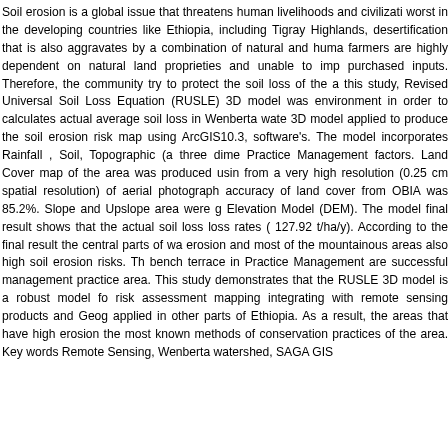Soil erosion is a global issue that threatens human livelihoods and civilizations worst in the developing countries like Ethiopia, including Tigray Highlands, desertification that is also aggravates by a combination of natural and human farmers are highly dependent on natural land proprieties and unable to improve purchased inputs. Therefore, the community try to protect the soil loss of the area. In this study, Revised Universal Soil Loss Equation (RUSLE) 3D model was environment in order to calculates actual average soil loss in Wenberta watershed. 3D model applied to produce the soil erosion risk map using ArcGIS10.3, software's. The model incorporates Rainfall , Soil, Topographic (a three dimensional Practice Management factors. Land Cover map of the area was produced using from a very high resolution (0.25 cm spatial resolution) of aerial photographs. The accuracy of land cover from OBIA was 85.2%. Slope and Upslope area were generated from Elevation Model (DEM). The model final result shows that the actual soil loss rates ( 127.92 t/ha/y). According to the final result the central parts of watershed erosion and most of the mountainous areas also high soil erosion risks. The bench terrace in Practice Management are successful management practices area. This study demonstrates that the RUSLE 3D model is a robust model for risk assessment mapping integrating with remote sensing products and Geographic applied in other parts of Ethiopia. As a result, the areas that have high erosion the most known methods of conservation practices of the area. Key words: Remote Sensing, Wenberta watershed, SAGA GIS